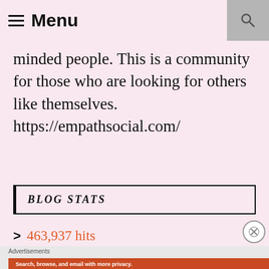Menu
minded people. This is a community for those who are looking for others like themselves. https://empathsocial.com/
BLOG STATS
> 463,937 hits
Advertisements
[Figure (screenshot): DuckDuckGo advertisement banner: orange background with white text 'Search, browse, and email with more privacy. All in One Free App' and DuckDuckGo logo with phone image on right]